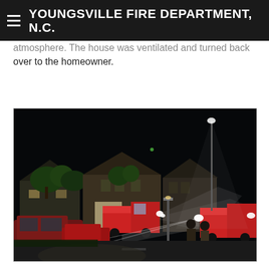YOUNGSVILLE FIRE DEPARTMENT, N.C.
atmosphere. The house was ventilated and turned back over to the homeowner.
[Figure (photo): Night scene showing fire trucks and firefighters on a residential street with houses and trees illuminated by truck lights]